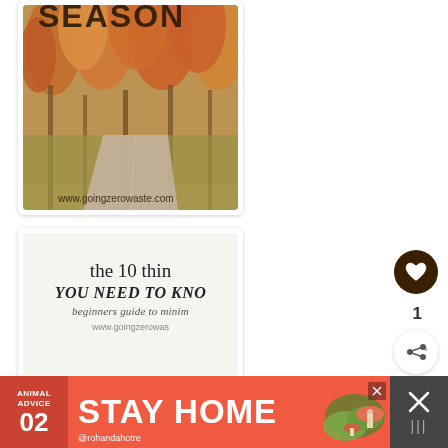[Figure (photo): Autumn road scene with orange and yellow foliage trees lining a winding road, text overlay 'SEASON' at top and 'www.goingzerowaste.com' at bottom]
[Figure (illustration): White card with text 'the 10 thin YOU NEED TO KNO beginners guide to minim www.goingzerowas' and green plant leaves at bottom, on light gray background]
[Figure (infographic): Orange advertisement banner reading 'ANIMAL ADVICE 02 STAY HOME' with mushroom illustration and @rohandahotre handle]
[Figure (other): Dark close/dismiss button panel on right side with X icon]